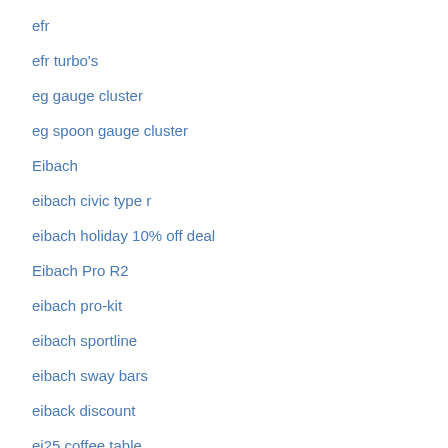efr
efr turbo's
eg gauge cluster
eg spoon gauge cluster
Eibach
eibach civic type r
eibach holiday 10% off deal
Eibach Pro R2
eibach pro-kit
eibach sportline
eibach sway bars
eiback discount
ej25 coffee table
ej257 valve springs